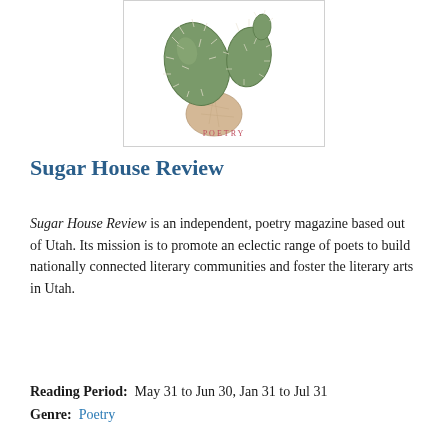[Figure (illustration): Botanical illustration of a prickly pear cactus with green paddle-shaped pads and a beige/tan base segment, with the word POETRY in pink/red text below]
Sugar House Review
Sugar House Review is an independent, poetry magazine based out of Utah. Its mission is to promote an eclectic range of poets to build nationally connected literary communities and foster the literary arts in Utah.
Reading Period:  May 31 to Jun 30, Jan 31 to Jul 31
Genre:  Poetry